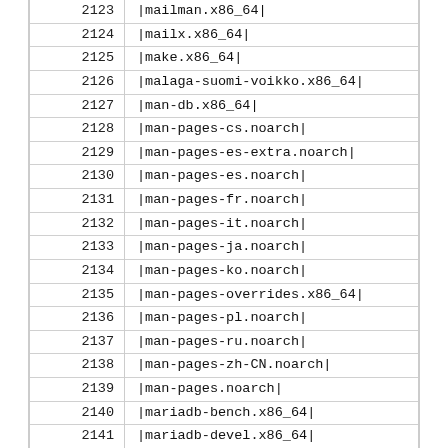| # | Package |
| --- | --- |
| 2123 | |mailman.x86_64| |
| 2124 | |mailx.x86_64| |
| 2125 | |make.x86_64| |
| 2126 | |malaga-suomi-voikko.x86_64| |
| 2127 | |man-db.x86_64| |
| 2128 | |man-pages-cs.noarch| |
| 2129 | |man-pages-es-extra.noarch| |
| 2130 | |man-pages-es.noarch| |
| 2131 | |man-pages-fr.noarch| |
| 2132 | |man-pages-it.noarch| |
| 2133 | |man-pages-ja.noarch| |
| 2134 | |man-pages-ko.noarch| |
| 2135 | |man-pages-overrides.x86_64| |
| 2136 | |man-pages-pl.noarch| |
| 2137 | |man-pages-ru.noarch| |
| 2138 | |man-pages-zh-CN.noarch| |
| 2139 | |man-pages.noarch| |
| 2140 | |mariadb-bench.x86_64| |
| 2141 | |mariadb-devel.x86_64| |
| 2142 | |mariadb-libs.x86_64| |
| 2143 | |mariadb-server.x86_64| |
| 2144 | |mariadb-test.x86_64| |
| 2145 | |mariadb.x86_64| |
| 2146 | |marisa.x86_64| |
| 2147 | |matchbox-window-manager.x86_64| |